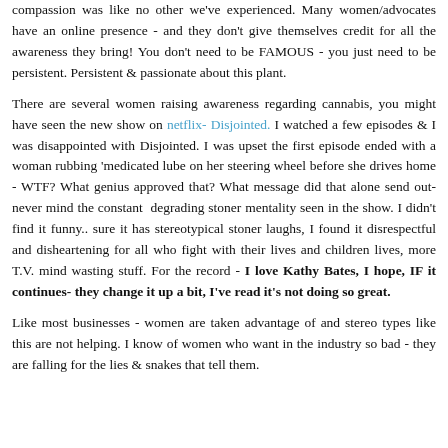compassion was like no other we've experienced. Many women/advocates have an online presence - and they don't give themselves credit for all the awareness they bring! You don't need to be FAMOUS - you just need to be persistent. Persistent & passionate about this plant.
There are several women raising awareness regarding cannabis, you might have seen the new show on netflix- Disjointed. I watched a few episodes & I was disappointed with Disjointed. I was upset the first episode ended with a woman rubbing 'medicated lube on her steering wheel before she drives home - WTF? What genius approved that? What message did that alone send out- never mind the constant degrading stoner mentality seen in the show. I didn't find it funny.. sure it has stereotypical stoner laughs, I found it disrespectful and disheartening for all who fight with their lives and children lives, more T.V. mind wasting stuff. For the record - I love Kathy Bates, I hope, IF it continues- they change it up a bit, I've read it's not doing so great.
Like most businesses - women are taken advantage of and stereo types like this are not helping. I know of women who want in the industry so bad - they are falling for the lies & snakes that tell them.